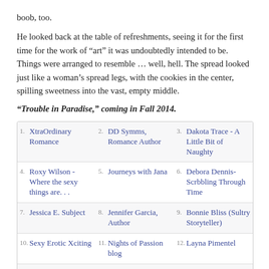boob, too.
He looked back at the table of refreshments, seeing it for the first time for the work of “art” it was undoubtedly intended to be. Things were arranged to resemble … well, hell. The spread looked just like a woman’s spread legs, with the cookies in the center, spilling sweetness into the vast, empty middle.
“Trouble in Paradise,” coming in Fall 2014.
| 1. XtraOrdinary Romance | 2. DD Symms, Romance Author | 3. Dakota Trace - A Little Bit of Naughty |
| 4. Roxy Wilson - Where the sexy things are. . . | 5. Journeys with Jana | 6. Debora Dennis-Scrbbling Through Time |
| 7. Jessica E. Subject | 8. Jennifer Garcia, Author | 9. Bonnie Bliss (Sultry Storyteller) |
| 10. Sexy Erotic Xciting | 11. Nights of Passion blog | 12. Layna Pimentel |
| 13. Kay Phoenix - Love that Transforms | 14. Teagan's Books | 15. Morticia Knight - Daring |